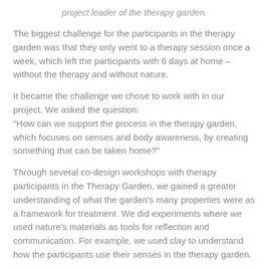project leader of the therapy garden.
The biggest challenge for the participants in the therapy garden was that they only went to a therapy session once a week, which left the participants with 6 days at home – without the therapy and without nature.
It became the challenge we chose to work with in our project. We asked the question:
"How can we support the process in the therapy garden, which focuses on senses and body awareness, by creating something that can be taken home?"
Through several co-design workshops with therapy participants in the Therapy Garden, we gained a greater understanding of what the garden's many properties were as a framework for treatment. We did experiments where we used nature's materials as tools for reflection and communication. For example, we used clay to understand how the participants use their senses in the therapy garden.